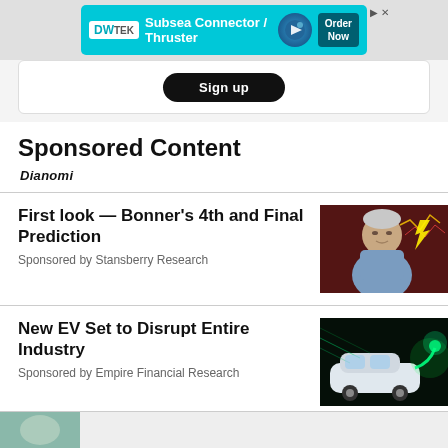[Figure (screenshot): Advertisement banner: DWTEK Subsea Connector / Thruster with Order Now button in teal/cyan color]
[Figure (screenshot): Partial white card with a dark rounded button at center top]
Sponsored Content
Dianomi
First look — Bonner's 4th and Final Prediction
Sponsored by Stansberry Research
[Figure (photo): Older man with gray hair in blue shirt, with financial charts and lightning bolt graphic in background]
New EV Set to Disrupt Entire Industry
Sponsored by Empire Financial Research
[Figure (photo): Electric vehicle charging station with glowing green light effects]